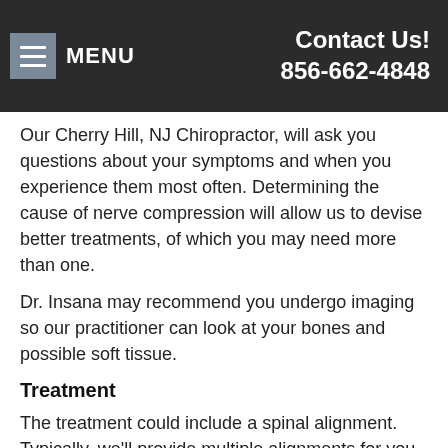MENU | Contact Us! 856-662-4848
Our Cherry Hill, NJ Chiropractor, will ask you questions about your symptoms and when you experience them most often. Determining the cause of nerve compression will allow us to devise better treatments, of which you may need more than one.
Dr. Insana may recommend you undergo imaging so our practitioner can look at your bones and possible soft tissue.
Treatment
The treatment could include a spinal alignment. Typically, we'll provide multiple alignments for you to see the fullest effect. It consists of our practitioner moving the vertebrae in the back to align with the rest of the spinal column, removing pressure from the surrounding tissues.